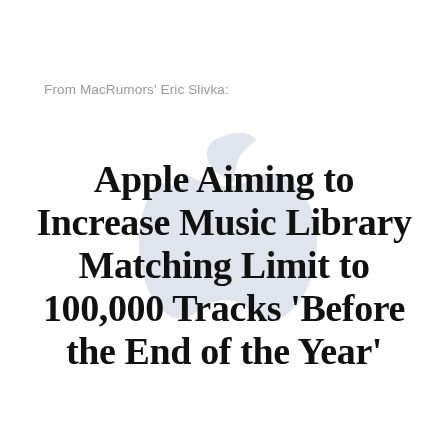From MacRumors' Eric Slivka:
[Figure (logo): Apple logo watermark in light gray, centered on the page]
Apple Aiming to Increase Music Library Matching Limit to 100,000 Tracks ‘Before the End of the Year’